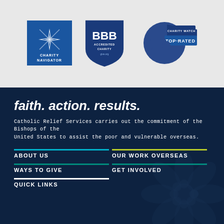[Figure (logo): Charity Navigator logo - blue square with compass star and text CHARITY NAVIGATOR]
[Figure (logo): BBB Accredited Charity logo - blue shield with BBB text, ACCREDITED CHARITY, give.org]
[Figure (logo): CharityWatch Top-Rated logo - blue circle with dog and banner saying CHARITY WATCH TOP-RATED]
faith. action. results.
Catholic Relief Services carries out the commitment of the Bishops of the United States to assist the poor and vulnerable overseas.
ABOUT US
OUR WORK OVERSEAS
WAYS TO GIVE
GET INVOLVED
QUICK LINKS